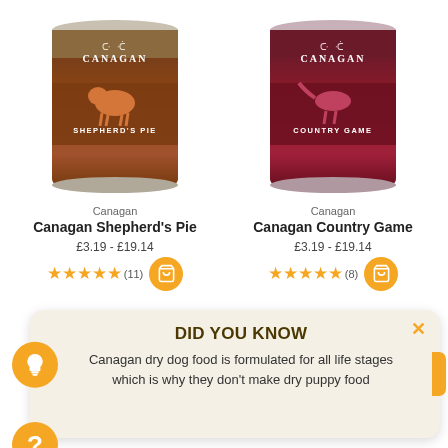[Figure (photo): Canagan Shepherd's Pie dog food can with brown label, sheep silhouette, and Canagan branding]
Canagan
Canagan Shepherd's Pie
£3.19 - £19.14
★★★★★ (11)
[Figure (photo): Canagan Country Game dog food can with dark red label, bird silhouette, and Canagan branding]
Canagan
Canagan Country Game
£3.19 - £19.14
★★★★★ (8)
DID YOU KNOW
Canagan dry dog food is formulated for all life stages which is why they don't make dry puppy food